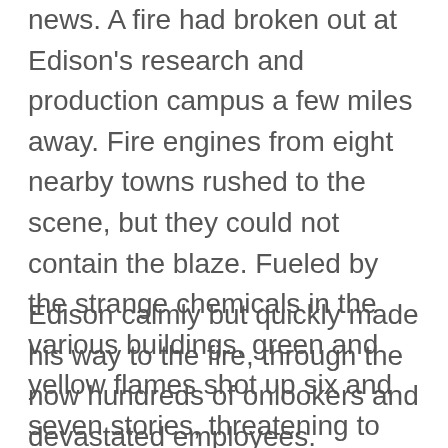news. A fire had broken out at Edison's research and production campus a few miles away. Fire engines from eight nearby towns rushed to the scene, but they could not contain the blaze. Fueled by the strange chemicals in the various buildings, green and yellow flames shot up six and seven stories, threatening to destroy the empire Edison had spent his life building.
Edison calmly but quickly made his way to the fire, through the now hundreds of onlookers and devastated employees.